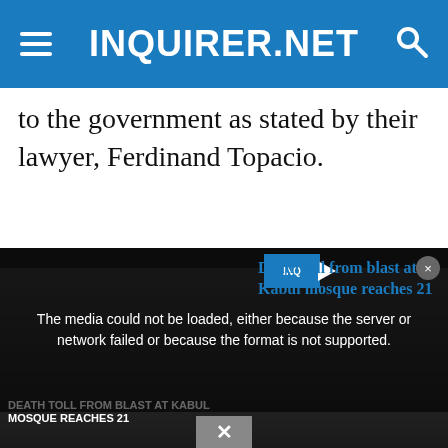INQUIRER.NET
to the government as stated by their lawyer, Ferdinand Topacio.
[Figure (screenshot): Video player overlay showing media error message: 'The media could not be loaded, either because the server or network failed or because the format is not supported.' with a related article link 'Death toll from blast at Kabul mosque reaches 21' and background showing 'DEATH TOLL FROM BLAST AT KABUL MOSQUE REACHES 21' text overlay on dark image.]